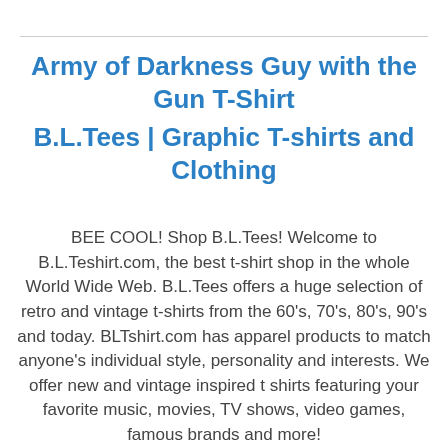Army of Darkness Guy with the Gun T-Shirt
B.L.Tees | Graphic T-shirts and Clothing
BEE COOL! Shop B.L.Tees! Welcome to B.L.Teshirt.com, the best t-shirt shop in the whole World Wide Web. B.L.Tees offers a huge selection of retro and vintage t-shirts from the 60's, 70's, 80's, 90's and today. BLTshirt.com has apparel products to match anyone's individual style, personality and interests. We offer new and vintage inspired t shirts featuring your favorite music, movies, TV shows, video games, famous brands and more! Browse our Large Selection of Vintage Inspired Graphic Tees, Long Sleeve Tees and Hoodies or get started shopping online by using the “Search” at the top of the page. BLTshirt.com prides itself on carrying a wide